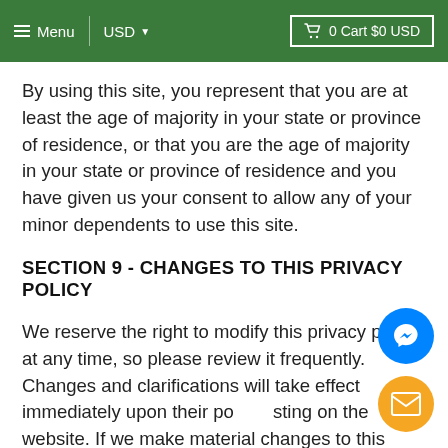Menu  USD  0 Cart $0 USD
By using this site, you represent that you are at least the age of majority in your state or province of residence, or that you are the age of majority in your state or province of residence and you have given us your consent to allow any of your minor dependents to use this site.
SECTION 9 - CHANGES TO THIS PRIVACY POLICY
We reserve the right to modify this privacy policy at any time, so please review it frequently. Changes and clarifications will take effect immediately upon their posting on the website. If we make material changes to this policy, we will notify you here that it has been updated, so that you are aware of what information we collect, how we use it, and under what circumstances, if any, we use and/or